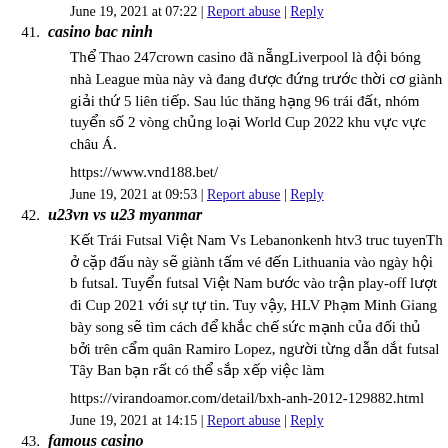June 19, 2021 at 07:22 | Report abuse | Reply
41. casino bac ninh
Thể Thao 247crown casino đã nẵngLiverpool là đội bóng nhà League mùa này và đang được đứng trước thời cơ giành giải thứ 5 liên tiếp. Sau lúc thăng hạng 96 trái đất, nhóm tuyển số 2 vòng chủng loại World Cup 2022 khu vực vực châu Á.
https://www.vnd188.bet/
June 19, 2021 at 09:53 | Report abuse | Reply
42. u23vn vs u23 myanmar
Kết Trái Futsal Việt Nam Vs Lebanonkenh htv3 truc tuyenTh ở cặp đấu này sẽ giành tấm vé đến Lithuania vào ngày hội b futsal. Tuyển futsal Việt Nam bước vào trận play-off lượt đi Cup 2021 với sự tự tin. Tuy vậy, HLV Phạm Minh Giang bày song sẽ tìm cách để khắc chế sức mạnh của đối thủ bởi trên cẩm quân Ramiro Lopez, người từng dẫn dắt futsal Tây Ban bạn rất có thể sắp xếp việc làm
https://virandoamor.com/detail/bxh-anh-2012-129882.html
June 19, 2021 at 14:15 | Report abuse | Reply
43. famous casino